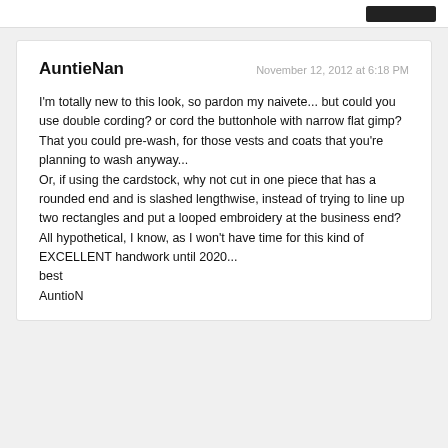AuntieNan
November 12, 2012 at 6:18 PM
I'm totally new to this look, so pardon my naivete... but could you use double cording? or cord the buttonhole with narrow flat gimp? That you could pre-wash, for those vests and coats that you're planning to wash anyway...
Or, if using the cardstock, why not cut in one piece that has a rounded end and is slashed lengthwise, instead of trying to line up two rectangles and put a looped embroidery at the business end?
All hypothetical, I know, as I won't have time for this kind of EXCELLENT handwork until 2020...
best
AuntioN